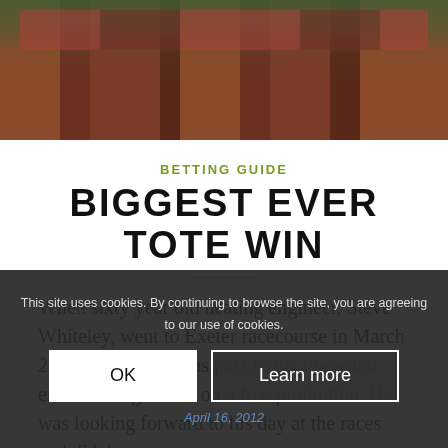[Figure (photo): Photo of buses or red vehicles at what appears to be a racecourse or transport hub, viewed from outside through glass or barriers, with brick structures visible.]
BETTING GUIDE
BIGGEST EVER TOTE WIN
When sixty year old heating engineer, Steve Whiteley, went to Exeter racecourse in March 2011, he used his bus pass to get there and entered the grounds on a free promotion. He was looking forward to his day at the races and didn't expect...
This site uses cookies. By continuing to browse the site, you are agreeing to our use of cookies.
April 16, 2012